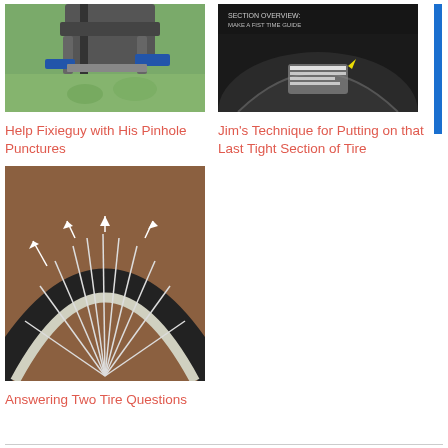[Figure (photo): Close-up photo of bicycle handlebars and stem from above, on grass background]
Help Fixieguy with His Pinhole Punctures
[Figure (photo): Close-up photo of tire being mounted on rim, with text overlay about technique]
Jim's Technique for Putting on that Last Tight Section of Tire
[Figure (photo): Photo of bicycle wheel showing tire and spokes from front, with white arrows pointing to tire bead area]
Answering Two Tire Questions
Leave a Reply
Your email address will not be published. Required fields